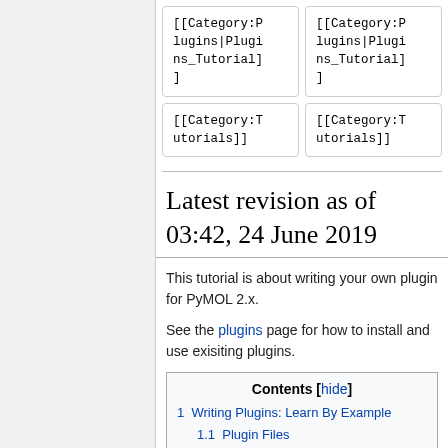[Figure (screenshot): Two code boxes showing [[Category:Plugins|Plugins_Tutorial]] in monospace font, top row]
[Figure (screenshot): Two code boxes showing [[Category:Tutorials]] in monospace font, bottom row]
Latest revision as of 03:42, 24 June 2019
This tutorial is about writing your own plugin for PyMOL 2.x.
See the plugins page for how to install and use exisiting plugins.
| Contents [hide] |
| --- |
| 1  Writing Plugins: Learn By Example |
| 1.1  Plugin Files |
| 1.2  Registering your Plugin |